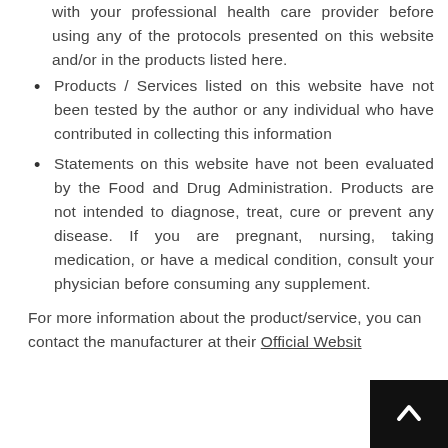with your professional health care provider before using any of the protocols presented on this website and/or in the products listed here.
Products / Services listed on this website have not been tested by the author or any individual who have contributed in collecting this information
Statements on this website have not been evaluated by the Food and Drug Administration. Products are not intended to diagnose, treat, cure or prevent any disease. If you are pregnant, nursing, taking medication, or have a medical condition, consult your physician before consuming any supplement.
For more information about the product/service, you can contact the manufacturer at their Official Website